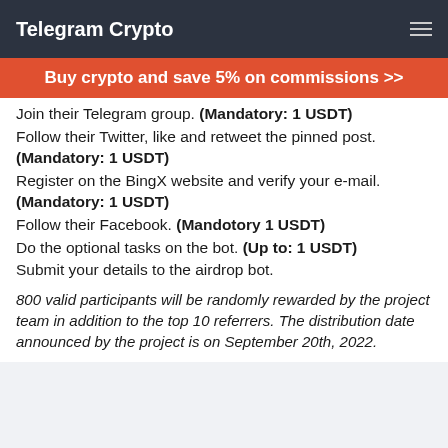Telegram Crypto
Buy crypto and save 5% on commissions >>
Join their Telegram group. (Mandatory: 1 USDT)
Follow their Twitter, like and retweet the pinned post. (Mandatory: 1 USDT)
Register on the BingX website and verify your e-mail. (Mandatory: 1 USDT)
Follow their Facebook. (Mandotory 1 USDT)
Do the optional tasks on the bot. (Up to: 1 USDT)
Submit your details to the airdrop bot.
800 valid participants will be randomly rewarded by the project team in addition to the top 10 referrers. The distribution date announced by the project is on September 20th, 2022.